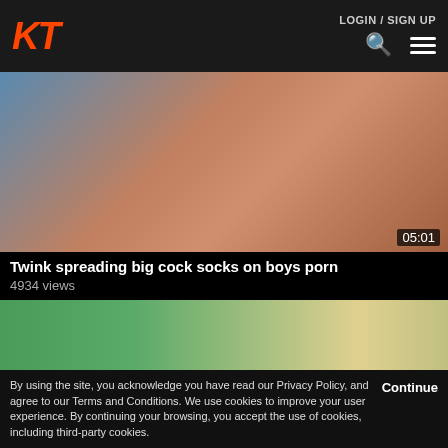KT LOGIN / SIGN UP
[Figure (photo): Video thumbnail showing close-up scene with duration 05:01]
Twink spreading big cock socks on boys porn
4934 views
[Figure (photo): Video thumbnail showing person in green shirt]
By using the site, you acknowledge you have read our Privacy Policy, and agree to our Terms and Conditions. We use cookies to improve your user experience. By continuing your browsing, you accept the use of cookies, including third-party cookies.
Continue